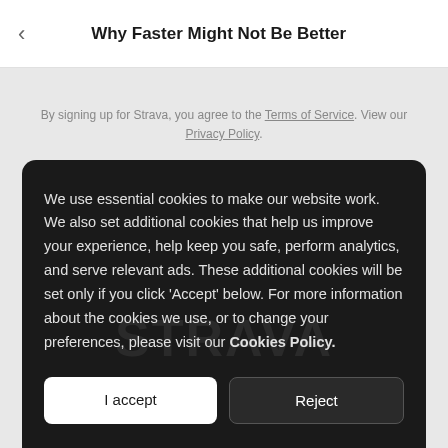Why Faster Might Not Be Better
By signing up for Strava, you agree to the Terms of Service. View our Privacy Policy.
We use essential cookies to make our website work. We also set additional cookies that help us improve your experience, help keep you safe, perform analytics, and serve relevant ads. These additional cookies will be set only if you click 'Accept' below. For more information about the cookies we use, or to change your preferences, please visit our Cookies Policy.
I accept
Reject